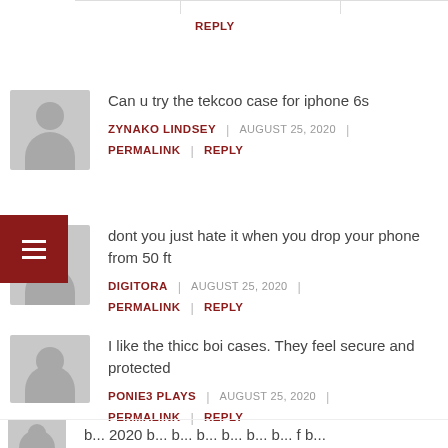REPLY
Can u try the tekcoo case for iphone 6s
ZYNAKO LINDSEY | AUGUST 25, 2020 | PERMALINK | REPLY
dont you just hate it when you drop your phone from 50 ft
DIGITORA | AUGUST 25, 2020 | PERMALINK | REPLY
I like the thicc boi cases. They feel secure and protected
PONIE3 PLAYS | AUGUST 25, 2020 | PERMALINK | REPLY